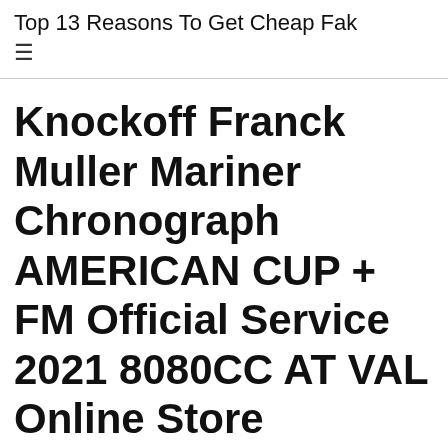Top 13 Reasons To Get Cheap Fak
Knockoff Franck Muller Mariner Chronograph AMERICAN CUP + FM Official Service 2021 8080CC AT VAL Online Store
Posted on February 11, 2022 by admin
Knockoff Franck Muller Mariner